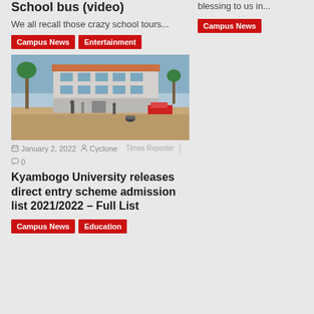School bus (video)
We all recall those crazy school tours...
Campus News
Entertainment
[Figure (photo): University campus building with palm trees, people walking in foreground, cars parked on road]
January 2, 2022  Cyclone Times Reporter  0
Kyambogo University releases direct entry scheme admission list 2021/2022 – Full List
Campus News
Education
blessing to us in...
Campus News